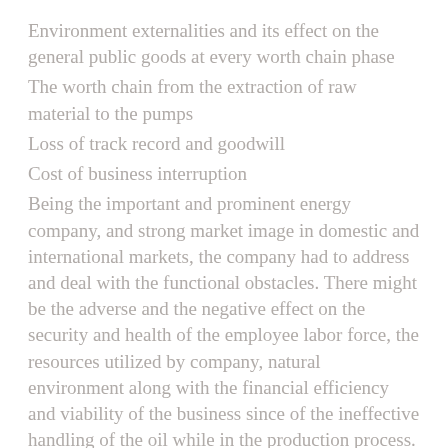Environment externalities and its effect on the general public goods at every worth chain phase
The worth chain from the extraction of raw material to the pumps
Loss of track record and goodwill
Cost of business interruption
Being the important and prominent energy company, and strong market image in domestic and international markets, the company had to address and deal with the functional obstacles. There might be the adverse and the negative effect on the security and health of the employee labor force, the resources utilized by company, natural environment along with the financial efficiency and viability of the business since of the ineffective handling of the oil while in the production process. The working condition of the business would have extreme impact on the security and health of